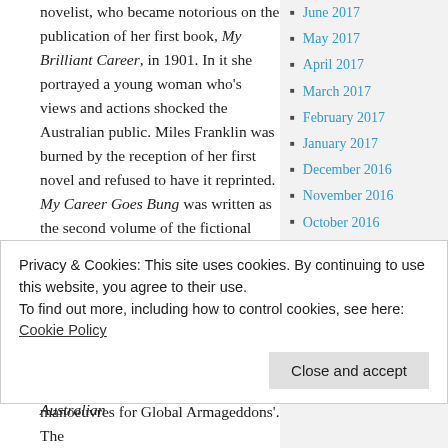novelist, who became notorious on the publication of her first book, My Brilliant Career, in 1901. In it she portrayed a young woman who's views and actions shocked the Australian public. Miles Franklin was burned by the reception of her first novel and refused to have it reprinted. My Career Goes Bung was written as the second volume of the fictional autobiography. It was completed in 1902, but fearful of its reception it was not published until the 1940s, when attitudes towards women had changed.
June 2017
May 2017
April 2017
March 2017
February 2017
January 2017
December 2016
November 2016
October 2016
September 2016
August 2016
July 2016
June 2016
May 2016
In the introductory To all young Australian
Privacy & Cookies: This site uses cookies. By continuing to use this website, you agree to their use.
To find out more, including how to control cookies, see here: Cookie Policy
manoeuvres for Global Armageddons'. The